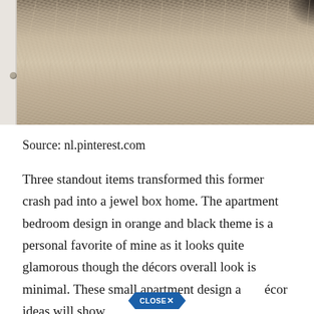[Figure (photo): Close-up photo of a fluffy white/beige fur textile or rug, with a white door frame visible on the left side and a dark corner at the top right.]
Source: nl.pinterest.com
Three standout items transformed this former crash pad into a jewel box home. The apartment bedroom design in orange and black theme is a personal favorite of mine as it looks quite glamorous though the décors overall look is minimal. These small apartment design and décor ideas will show